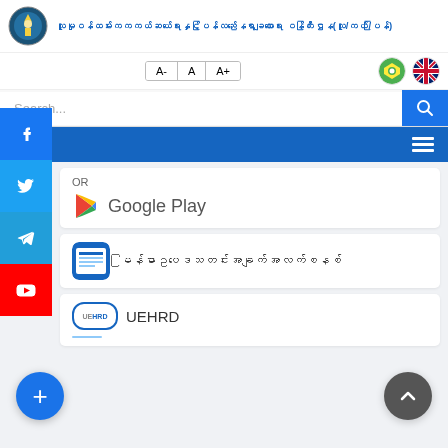[Figure (logo): Myanmar government department circular emblem/logo]
လူမှုဝန်ထမ်းကကယ်ဆယ်ရေးနှင့်ပြန်လည်နေရာချထားရေး ဝန်ကြီးဌာန(လူ/ကယ်/ပြန်)
A-  A  A+
[Figure (screenshot): Myanmar flag circle icon]
[Figure (screenshot): UK flag circle icon]
Search...
[Figure (screenshot): Hamburger/menu icon on blue navigation bar]
OR
[Figure (logo): Google Play logo triangle icon]
Google Play
[Figure (screenshot): Myanmar app icon]
မြန်မာဥပဒေသတင်းအချက်အလက်စနစ်
[Figure (logo): UEHRD logo badge]
UEHRD